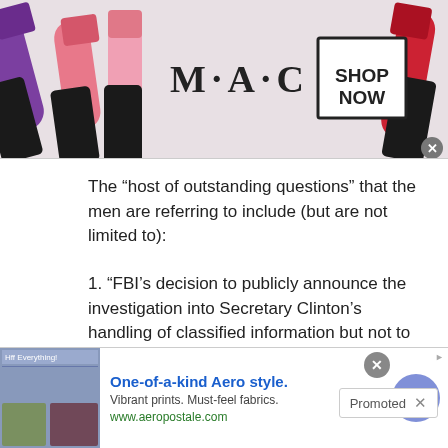[Figure (photo): M·A·C cosmetics advertisement banner showing lipsticks in purple, pink, and red with MAC logo and SHOP NOW button]
The “host of outstanding questions” that the men are referring to include (but are not limited to):
1. “FBI’s decision to publicly announce the investigation into Secretary Clinton’s handling of classified information but not to publicly announce the investigation into
[Figure (photo): Promoted content images: left shows a woman smiling near industrial building with video play button, right shows a close-up medical/anatomical image]
[Figure (screenshot): Bottom advertisement for Aeropostale: One-of-a-kind Aero style. Vibrant prints. Must-feel fabrics. www.aeropostale.com with thumbnail images and navigation arrow]